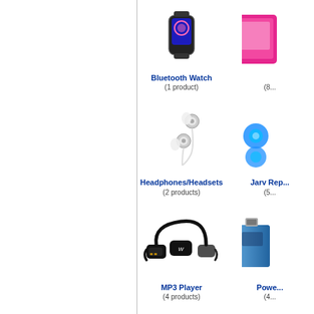[Figure (illustration): Bluetooth Watch product image (smartwatch)]
Bluetooth Watch
(1 product)
[Figure (illustration): Partial product image (cropped right side, pink/tablet case)]
(8...
[Figure (illustration): Headphones/Headsets product image (silver earbuds with white cable)]
Headphones/Headsets
(2 products)
[Figure (illustration): Jarv Rep... partial product image (blue circular items, cropped)]
Jarv Rep...
(5...
[Figure (illustration): MP3 Player product image (Sony Walkman sport style black headphones)]
MP3 Player
(4 products)
[Figure (illustration): Powe... partial product image (USB drive/power bank, cropped)]
Powe...
(4...